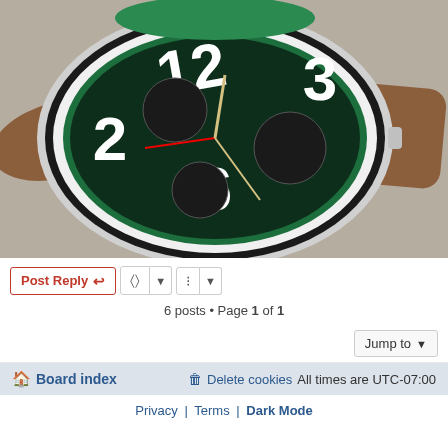[Figure (photo): Close-up photo of a chronograph wristwatch with a green and black dial, large white numerals, multiple sub-dials, tachymeter bezel, and a brown leather perforated strap on a gray fabric background.]
Post Reply | tools | sort | 6 posts • Page 1 of 1
Jump to
Board index | Delete cookies | All times are UTC-07:00
Privacy | Terms | Dark Mode